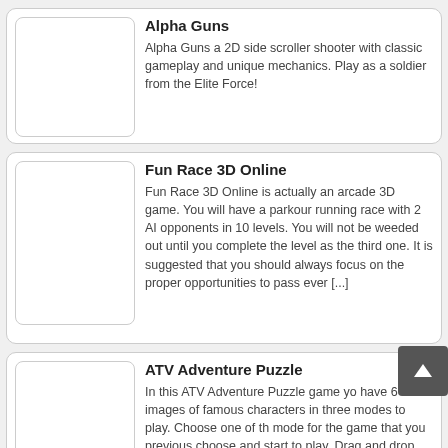[Figure (illustration): Game listing card with placeholder image for Alpha Guns]
Alpha Guns
Alpha Guns a 2D side scroller shooter with classic gameplay and unique mechanics. Play as a soldier from the Elite Force!
[Figure (illustration): Game listing card with placeholder image for Fun Race 3D Online]
Fun Race 3D Online
Fun Race 3D Online is actually an arcade 3D game. You will have a parkour running race with 2 AI opponents in 10 levels. You will not be weeded out until you complete the level as the third one. It is suggested that you should always focus on the proper opportunities to pass ever [...]
[Figure (illustration): Game listing card with placeholder image for ATV Adventure Puzzle]
ATV Adventure Puzzle
In this ATV Adventure Puzzle game you have 6 images of famous characters in three modes to play. Choose one of the mode for the game that you previous choose and start to play. Drag and drop the pieces to solve the puzzle...